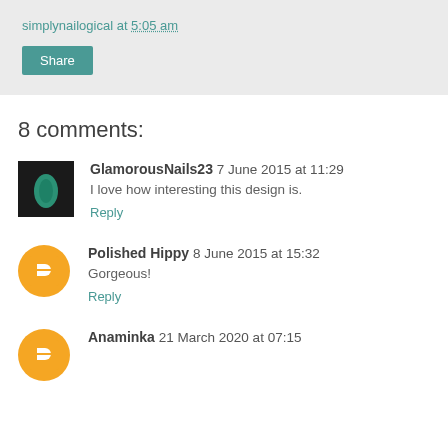simplynailogical at 5:05 am
Share
8 comments:
GlamorousNails23 7 June 2015 at 11:29
I love how interesting this design is.
Reply
Polished Hippy 8 June 2015 at 15:32
Gorgeous!
Reply
Anaminka 21 March 2020 at 07:15